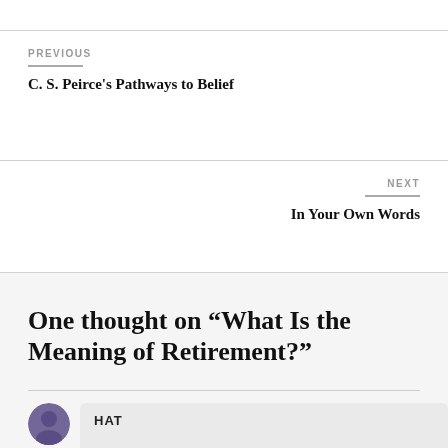PREVIOUS
C. S. Peirce's Pathways to Belief
NEXT
In Your Own Words
One thought on “What Is the Meaning of Retirement?”
HAT